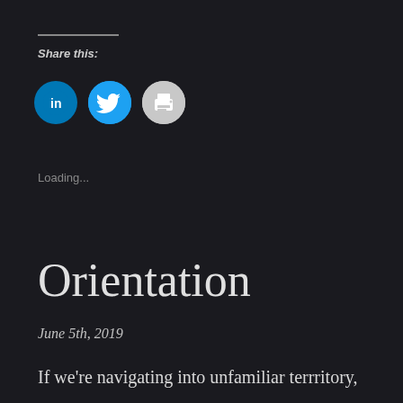Share this:
[Figure (illustration): Three social sharing icon buttons: LinkedIn (blue circle with 'in' logo), Twitter (blue circle with bird icon), Print (gray circle with printer icon)]
Loading...
Orientation
June 5th, 2019
If we're navigating into unfamiliar terrritory,